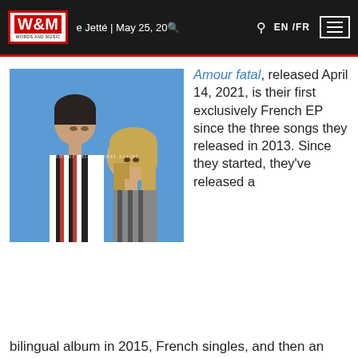W&M Words and Music | e Jetté | May 25, 2022 | EN /FR
[Figure (photo): Album cover and photo of two people facing each other against a blue sky background. Text on cover reads 'amour fatal post script'. Website article image for Words and Music.]
Amour fatal, released April 14, 2021, is their first exclusively French EP since the three songs they released in 2013. Since they started, they've released a bilingual album in 2015, French singles, and then an